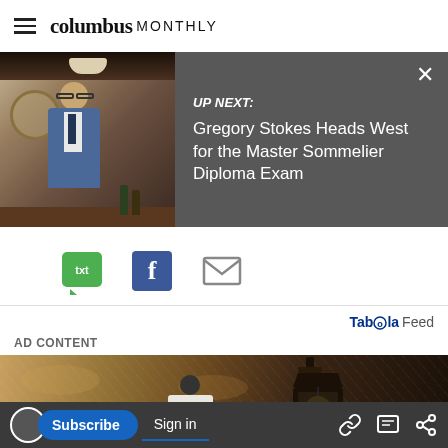columbus MONTHLY
[Figure (screenshot): UP NEXT banner with photo of man in suit in restaurant/bar setting. Text reads: UP NEXT: Gregory Stokes Heads West for the Master Sommelier Diploma Exam. Close (X) button top right.]
[Figure (infographic): Social share icons: txt (green chat bubble), Facebook (blue F), email (grey envelope)]
Taboola Feed
AD CONTENT
[Figure (photo): Close-up photo of a vintage dark metal lantern/light fixture against a textured stone wall]
Subscribe  Sign in